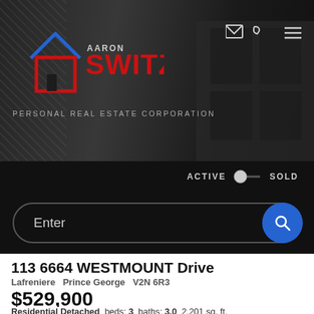[Figure (logo): Aaron Switzer Personal Real Estate Corporation logo with house icon in red and blue, white text on dark background]
PERSONAL REAL ESTATE CORPORATION
ACTIVE  SOLD
Enter
113 6664 WESTMOUNT Drive
Lafreniere   Prince George   V2N 6R3
$529,900
Residential Detached  beds: 3  baths: 3.0  2,201 sq. ft.  built: 2021
SOLD OVER THE ASKING PRICE!
SOLD